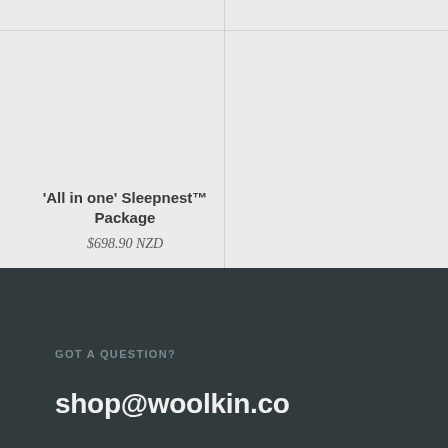'All in one' Sleepnest™ Package
$698.90 NZD
GOT A QUESTION?
shop@woolkin.co